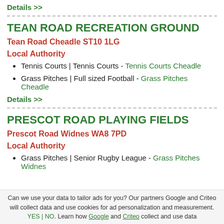Details >>
TEAN ROAD RECREATION GROUND
Tean Road Cheadle ST10 1LG
Local Authority
Tennis Courts | Tennis Courts - Tennis Courts Cheadle
Grass Pitches | Full sized Football - Grass Pitches Cheadle
Details >>
PRESCOT ROAD PLAYING FIELDS
Prescot Road Widnes WA8 7PD
Local Authority
Grass Pitches | Senior Rugby League - Grass Pitches Widnes
Can we use your data to tailor ads for you? Our partners Google and Criteo will collect data and use cookies for ad personalization and measurement. YES | NO. Learn how Google and Criteo collect and use data